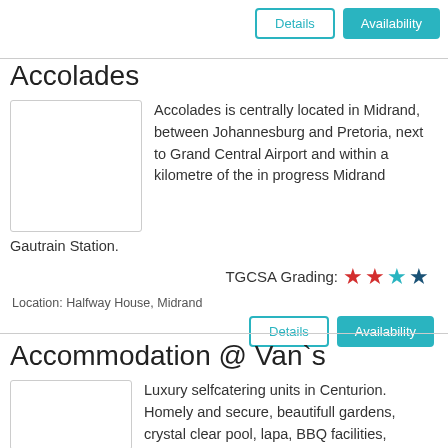Details | Availability
Accolades
Accolades is centrally located in Midrand, between Johannesburg and Pretoria, next to Grand Central Airport and within a kilometre of the in progress Midrand Gautrain Station.
TGCSA Grading: ★★★★
Location: Halfway House, Midrand
Details | Availability
Accommodation @ Van`s
Luxury selfcatering units in Centurion. Homely and secure, beautifull gardens, crystal clear pool, lapa, BBQ facilities,